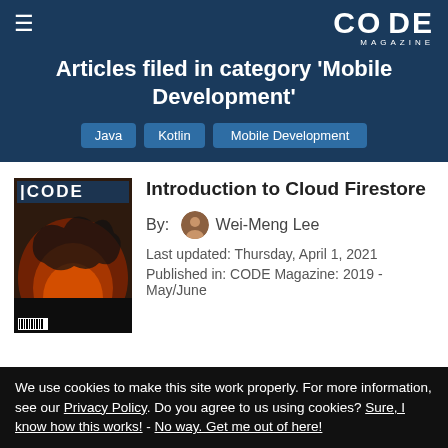CODE Magazine
Articles filed in category 'Mobile Development'
Java
Kotlin
Mobile Development
Introduction to Cloud Firestore
By: Wei-Meng Lee
Last updated: Thursday, April 1, 2021
Published in: CODE Magazine: 2019 - May/June
We use cookies to make this site work properly. For more information, see our Privacy Policy. Do you agree to us using cookies? Sure, I know how this works! - No way. Get me out of here!